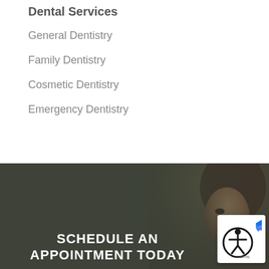Dental Services
General Dentistry
Family Dentistry
Cosmetic Dentistry
Emergency Dentistry
[Figure (photo): Dark background with a blurred image of a person's face on the right side, with text overlay reading 'SCHEDULE AN APPOINTMENT TODAY' and an accessibility widget with reCAPTCHA logo in the bottom right corner.]